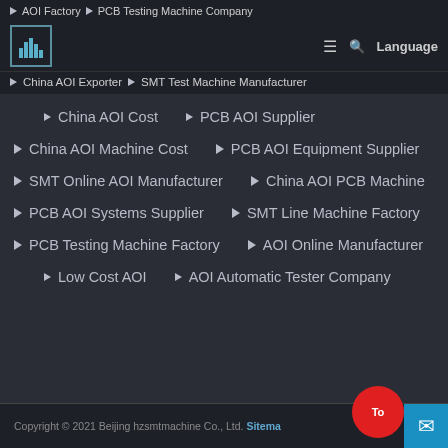AOI Factory ▶ PCB Testing Machine Company
[Figure (logo): Building/city logo icon in teal and white]
Language (navigation bar with hamburger menu and search)
▶ China AOI Exporter ▶ SMT Test Machine Manufacturer
▶ China AOI Cost ▶ PCB AOI Supplier
▶ China AOI Machine Cost ▶ PCB AOI Equipment Supplier
▶ SMT Online AOI Manufacturer ▶ China AOI PCB Machine
▶ PCB AOI Systems Supplier ▶ SMT Line Machine Factory
▶ PCB Testing Machine Factory ▶ AOI Online Manufacturer
▶ Low Cost AOI ▶ AOI Automatic Tester Company
Copyright © 2021 Beijing hzsmtmachine Co., Ltd. Sitemap